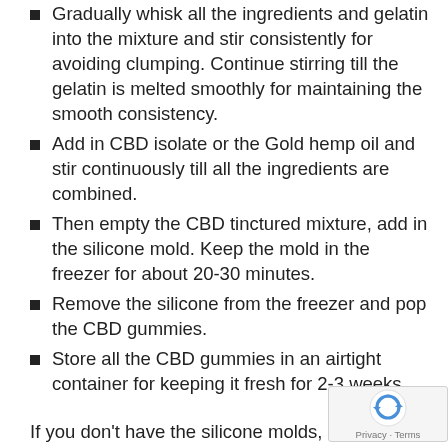Gradually whisk all the ingredients and gelatin into the mixture and stir consistently for avoiding clumping. Continue stirring till the gelatin is melted smoothly for maintaining the smooth consistency.
Add in CBD isolate or the Gold hemp oil and stir continuously till all the ingredients are combined.
Then empty the CBD tinctured mixture, add in the silicone mold. Keep the mold in the freezer for about 20-30 minutes.
Remove the silicone from the freezer and pop the CBD gummies.
Store all the CBD gummies in an airtight container for keeping it fresh for 2-3 weeks.
If you don't have the silicone molds, then you can pour it on any baking sheet. After the hardening of the mixture, use a knife for cutting out the gummies. All of these gummies are gluten-free these are vegan recipes as well. Many of the recipes